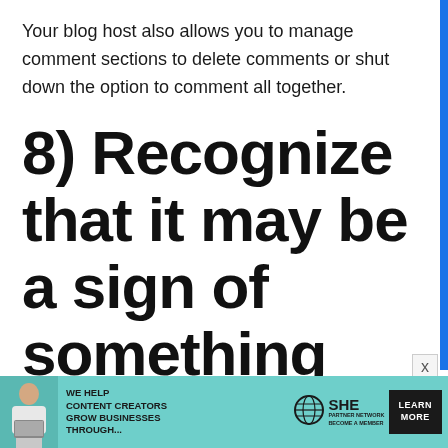Your blog host also allows you to manage comment sections to delete comments or shut down the option to comment all together.
8) Recognize that it may be a sign of something better
[Figure (illustration): Advertisement banner for SHE Media Partner Network. Teal/aqua background with a woman sitting with a laptop on the left, bold text 'WE HELP CONTENT CREATORS GROW BUSINESSES THROUGH...' in the center, SHE Media logo with globe icon, and a dark 'LEARN MORE' button on the right. 'BECOME A MEMBER' text below the SHE logo.]